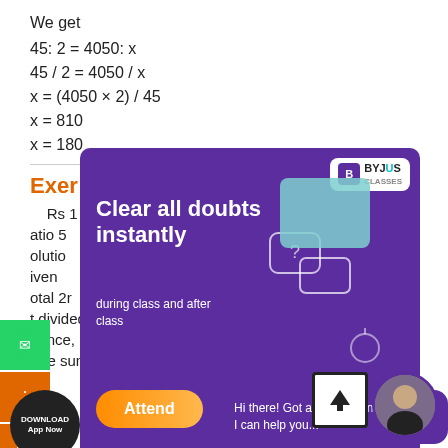We get
Exer
Rs 1 ... ratio 5
olution
iven
otal 2r
t divided between Hari and Gopi in the ratio = 5: 3
hence,
The sum of ratio is as follows: